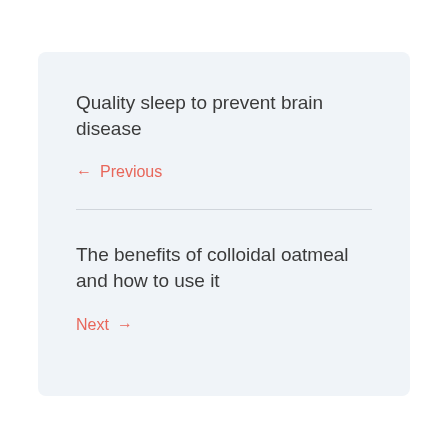Quality sleep to prevent brain disease
← Previous
The benefits of colloidal oatmeal and how to use it
Next →